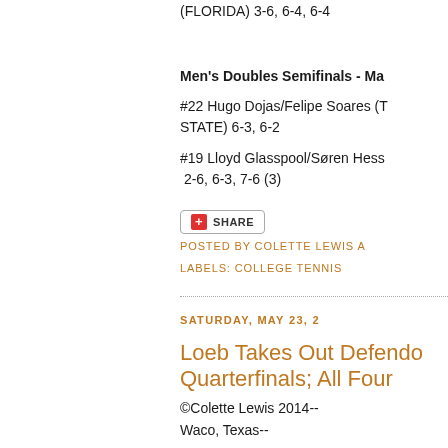(FLORIDA)  3-6, 6-4, 6-4
Men's Doubles Semifinals - Ma
#22 Hugo Dojas/Felipe Soares (T STATE)  6-3, 6-2
#19 Lloyd Glasspool/Søren Hess  2-6, 6-3, 7-6 (3)
[Figure (other): Share button with red plus icon and SHARE text]
POSTED BY COLETTE LEWIS A
LABELS: COLLEGE TENNIS
SATURDAY, MAY 23, 2
Loeb Takes Out Defendo Quarterfinals; All Four
©Colette Lewis 2014--
Waco, Texas--